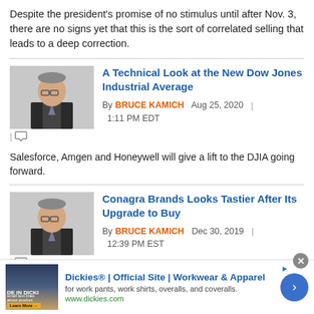Despite the president's promise of no stimulus until after Nov. 3, there are no signs yet that this is the sort of correlated selling that leads to a deep correction.
A Technical Look at the New Dow Jones Industrial Average
By BRUCE KAMICH  Aug 25, 2020  |  1:11 PM EDT
Salesforce, Amgen and Honeywell will give a lift to the DJIA going forward.
Conagra Brands Looks Tastier After Its Upgrade to Buy
By BRUCE KAMICH  Dec 30, 2019  |  12:39 PM EST
[Figure (other): Advertisement banner for Dickies Official Site - Workwear and Apparel]